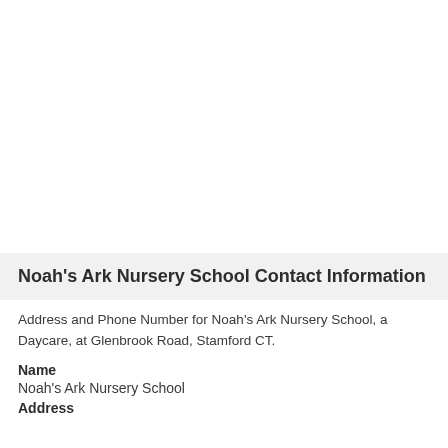Noah's Ark Nursery School Contact Information
Address and Phone Number for Noah's Ark Nursery School, a Daycare, at Glenbrook Road, Stamford CT.
Name
Noah's Ark Nursery School
Address